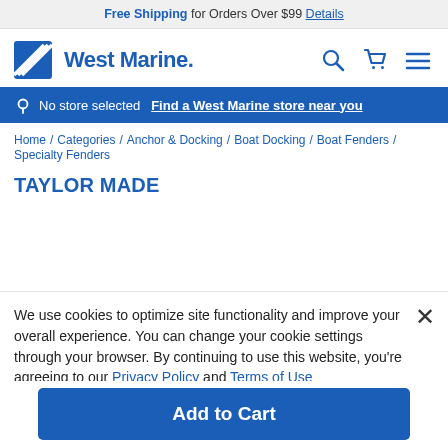Free Shipping for Orders Over $99 Details
[Figure (logo): West Marine logo with stylized double-W icon and wordmark]
No store selected  Find a West Marine store near you
Home / Categories / Anchor & Docking / Boat Docking / Boat Fenders / Specialty Fenders
TAYLOR MADE
We use cookies to optimize site functionality and improve your overall experience. You can change your cookie settings through your browser. By continuing to use this website, you're agreeing to our Privacy Policy and Terms of Use
Add to Cart
Accep